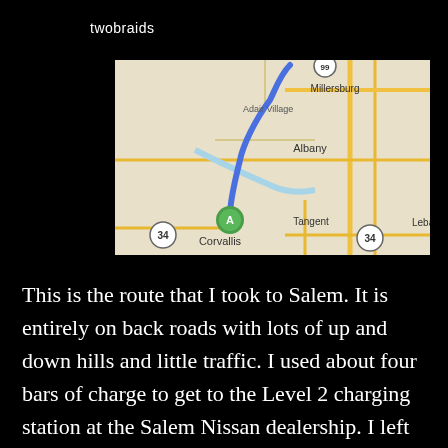twobraids
[Figure (map): A road map showing a route from Corvallis to Salem, Oregon. A blue route line travels north from a green marker labeled 'A' at Corvallis, passing through Albany area. Cities visible include Adair Village, Millersburg, Albany, Corvallis, Tangent, and Lebanon. Route 34 is shown at the bottom.]
This is the route that I took to Salem.  It is entirely on back roads with lots of up and down hills and little traffic.  I used about four bars of charge to get to the Level 2 charging station at the Salem Nissan dealership.  I left the car there for two hours bringing the